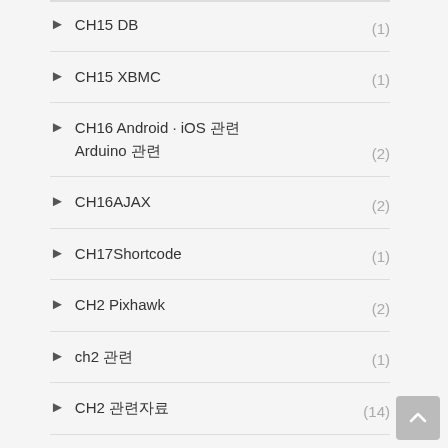CH15 DB (1)
CH15 XBMC (1)
CH16 Android · iOS 관련 Arduino 관련 (2)
CH16AJAX (2)
CH17Shortcode (1)
CH2 Pixhawk (2)
ch2 관련 (1)
CH2 관련자료 (14)
CH20 Q&A (1)
CH20 wordpress mu (3)